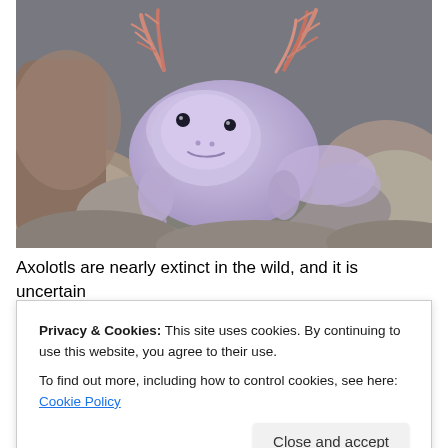[Figure (photo): Close-up photo of a lavender/purple axolotl (Ambystoma mexicanum) with pink feathery external gills, sitting among smooth river rocks of grey, brown, and tan colors. The axolotl faces the camera with a slight smile-like expression.]
Axolotls are nearly extinct in the wild, and it is uncertain
Privacy & Cookies: This site uses cookies. By continuing to use this website, you agree to their use.
To find out more, including how to control cookies, see here: Cookie Policy
can they completely regrow lost arms and legs back to full